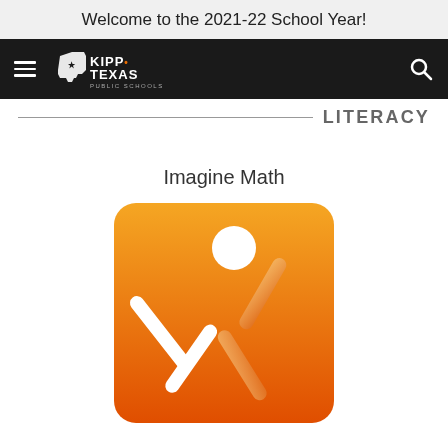Welcome to the 2021-22 School Year!
[Figure (screenshot): KIPP Texas Public Schools navigation bar with hamburger menu, logo, and search icon on dark background]
LITERACY
Imagine Math
[Figure (logo): Imagine Math app logo: orange gradient square with white and peach figure in dynamic pose forming an X shape]